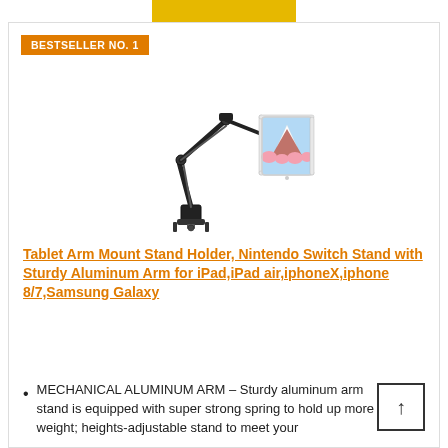[Figure (other): Yellow/gold button at top of page, partially visible]
BESTSELLER NO. 1
[Figure (photo): Tablet arm mount stand holder product photo showing a black articulating aluminum arm clamp mount with a tablet (displaying a mountain/cherry blossom scene) held at the end]
Tablet Arm Mount Stand Holder, Nintendo Switch Stand with Sturdy Aluminum Arm for iPad,iPad air,iphoneX,iphone 8/7,Samsung Galaxy
MECHANICAL ALUMINUM ARM – Sturdy aluminum arm stand is equipped with super strong spring to hold up more weight; heights-adjustable stand to meet your